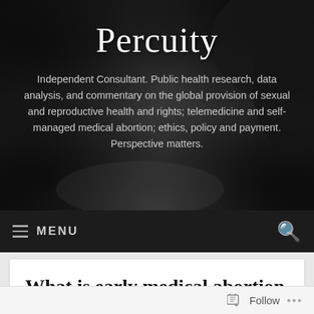Percuity
Independent Consultant. Public health research, data analysis, and commentary on the global provision of sexual and reproductive health and rights; telemedicine and self-managed medical abortion; ethics, policy and payment. Perspective matters.
MENU
What is early medical abortion at home?
Follow